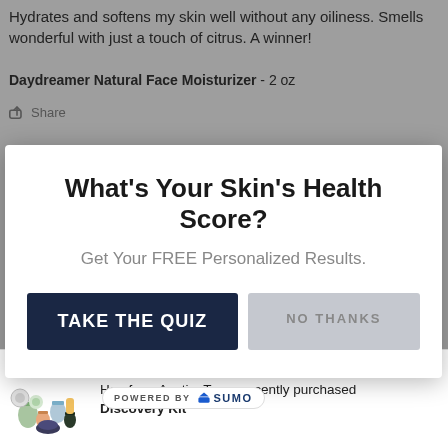Hydrates and softens my skin well without any oiliness. Smells wonderful with just a touch of citrus. A winner!
Daydreamer Natural Face Moisturizer - 2 oz
Share
What's Your Skin's Health Score?
Get Your FREE Personalized Results.
TAKE THE QUIZ
NO THANKS
I love this day cream! ooth and hydrated all day.
[Figure (photo): Collection of skincare product bottles and jars]
Han from Austin, Texas recently purchased Discovery Kit